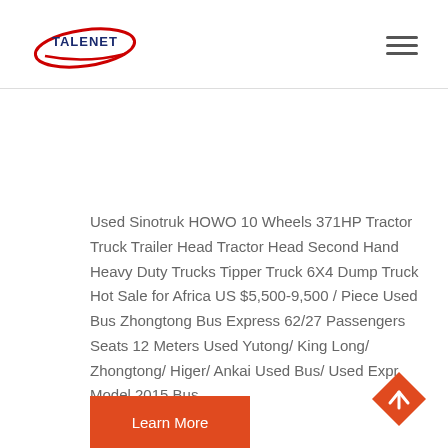TALENET [logo] [hamburger menu]
Used Sinotruk HOWO 10 Wheels 371HP Tractor Truck Trailer Head Tractor Head Second Hand Heavy Duty Trucks Tipper Truck 6X4 Dump Truck Hot Sale for Africa US $5,500-9,500 / Piece Used Bus Zhongtong Bus Express 62/27 Passengers Seats 12 Meters Used Yutong/ King Long/ Zhongtong/ Higer/ Ankai Used Bus/ Used Expr Model 2015 Bus
Learn More